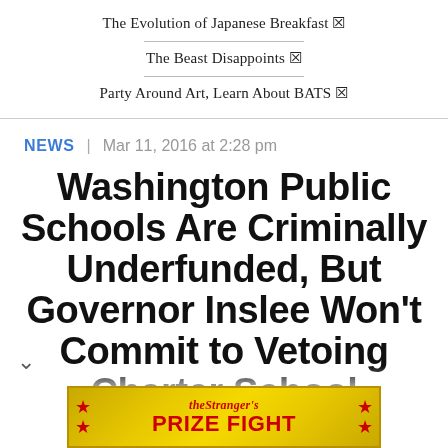The Evolution of Japanese Breakfast ☒
The Beast Disappoints ☒
Party Around Art, Learn About BATS ☒
NEWS | Mar 11, 2016 at 2:28 pm
Washington Public Schools Are Criminally Underfunded, But Governor Inslee Won't Commit to Vetoing Charter School
[Figure (infographic): The Stranger's Prize Fight advertisement banner with red stars and gold background]